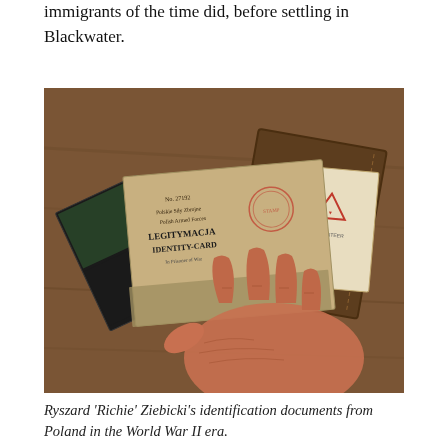immigrants of the time did, before settling in Blackwater.
[Figure (photo): An elderly person's wrinkled hand holding a collection of old documents and booklets including a Polish Armed Forces identity card (LEGITYMACJA / IDENTITY-CARD) and an Auschwitz 1940-1945 booklet, spread on a wooden table surface.]
Ryszard 'Richie' Ziebicki's identification documents from Poland in the World War II era.